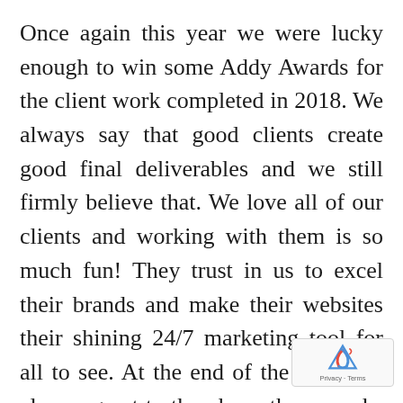Once again this year we were lucky enough to win some Addy Awards for the client work completed in 2018. We always say that good clients create good final deliverables and we still firmly believe that. We love all of our clients and working with them is so much fun! They trust in us to excel their brands and make their websites their shining 24/7 marketing tool for all to see. At the end of the year it is always great to then have those works recognized by judges and peers at the Addy Awards. This year we walked aw...